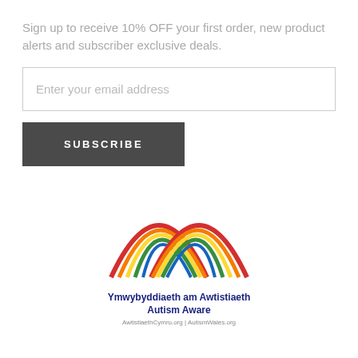Sign up to receive 10% OFF your first order, new product alerts and subscriber exclusive deals.
Enter your email address
SUBSCRIBE
[Figure (logo): Autism Awareness Wales logo: multicoloured rainbow arcs forming an X shape, with Welsh text 'Ymwybyddiaeth am Awtistiaeth' and English text 'Autism Aware', and website URLs 'AwtistiaethCymru.org | AutismWales.org']